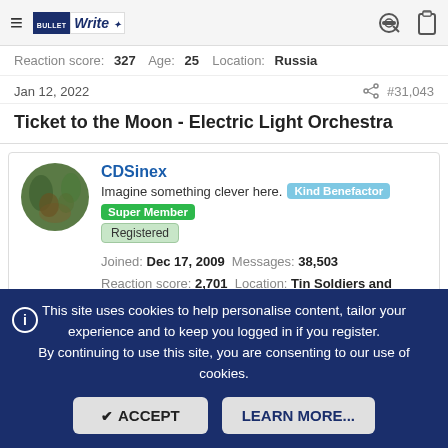BullWrite navigation bar with hamburger menu, logo, key icon, clipboard icon
Reaction score: 327  Age: 25  Location: Russia
Jan 12, 2022  #31,043
Ticket to the Moon - Electric Light Orchestra
CDSinex
Imagine something clever here. [Kind Benefactor] [Super Member]
[Registered]
Joined: Dec 17, 2009  Messages: 38,503
Reaction score: 2,701  Location: Tin Soldiers and Nixon
This site uses cookies to help personalise content, tailor your experience and to keep you logged in if you register. By continuing to use this site, you are consenting to our use of cookies.
[ACCEPT] [LEARN MORE...]